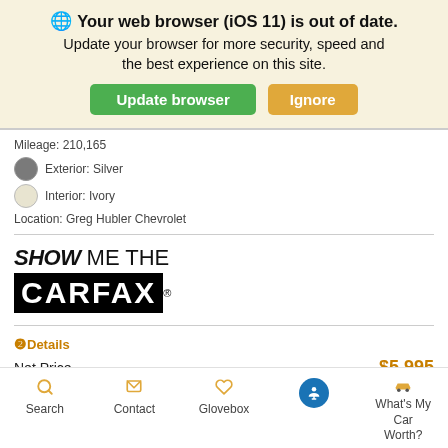🌐 Your web browser (iOS 11) is out of date. Update your browser for more security, speed and the best experience on this site. [Update browser] [Ignore]
Mileage: 210,165
Exterior: Silver
Interior: Ivory
Location: Greg Hubler Chevrolet
[Figure (logo): SHOW ME THE CARFAX logo]
❷Details
Net Price  $5,995
Search  Contact  Glovebox  [accessibility icon]  What's My Car Worth?